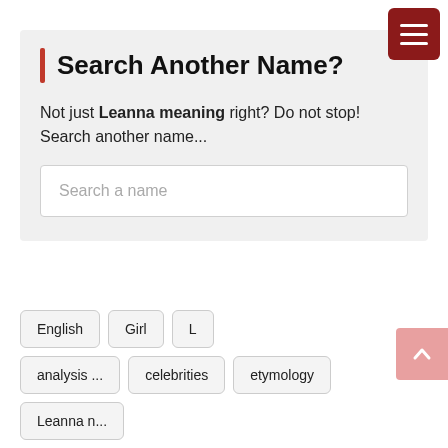Search Another Name?
Not just Leanna meaning right? Do not stop! Search another name...
English
Girl
L
analysis ...
celebrities
etymology
Leanna n...
meaning ...
name Lea...
origin of t...
popularity